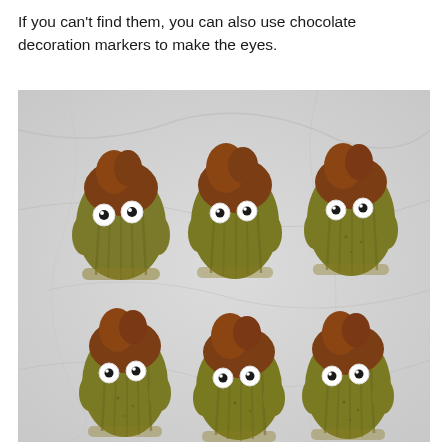If you can't find them, you can also use chocolate decoration markers to make the eyes.
[Figure (photo): Six madeleines with chocolate-dipped tops and googly candy eyes arranged on a marble surface, two rows of three, resembling cute monsters.]